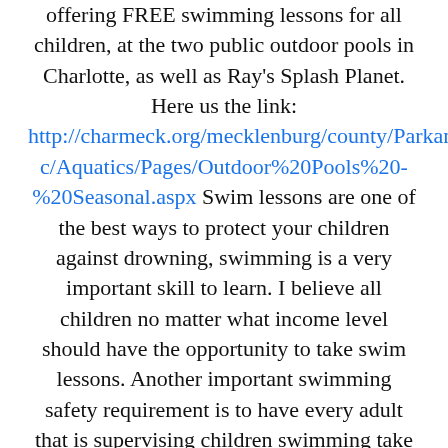offering FREE swimming lessons for all children, at the two public outdoor pools in Charlotte, as well as Ray's Splash Planet. Here us the link: http://charmeck.org/mecklenburg/county/ParkandRec/Aquatics/Pages/Outdoor%20Pools%20-%20Seasonal.aspx Swim lessons are one of the best ways to protect your children against drowning, swimming is a very important skill to learn. I believe all children no matter what income level should have the opportunity to take swim lessons. Another important swimming safety requirement is to have every adult that is supervising children swimming take a CPR course. It is very important to know how to save a life if the unthinkable happens. There are many courses around Charlotte to get certified in CPR and AED. My CPR Pros is our favorite CPR certification company. Their website can be found at: https://www.mycprpros.com Also this Saturday at Rallies and Babies in Charlotte, NC, there will be a CPR